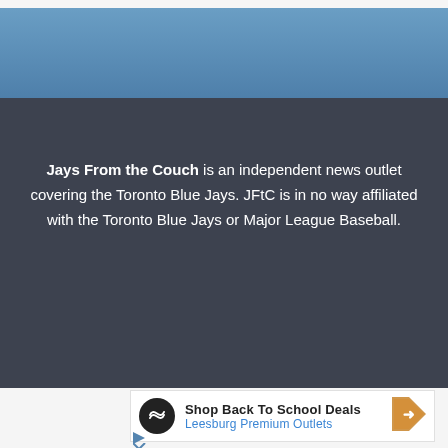[Figure (other): Blue decorative band at top of page footer section]
Jays From the Couch is an independent news outlet covering the Toronto Blue Jays. JFtC is in no way affiliated with the Toronto Blue Jays or Major League Baseball.
[Figure (other): Advertisement: Shop Back To School Deals - Leesburg Premium Outlets with logo and navigation arrow]